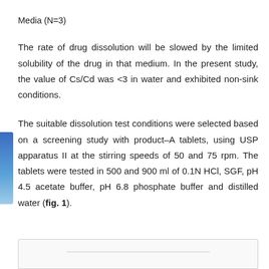Media (N=3)
The rate of drug dissolution will be slowed by the limited solubility of the drug in that medium. In the present study, the value of Cs/Cd was <3 in water and exhibited non-sink conditions.
The suitable dissolution test conditions were selected based on a screening study with product–A tablets, using USP apparatus II at the stirring speeds of 50 and 75 rpm. The tablets were tested in 500 and 900 ml of 0.1N HCl, SGF, pH 4.5 acetate buffer, pH 6.8 phosphate buffer and distilled water (fig. 1).